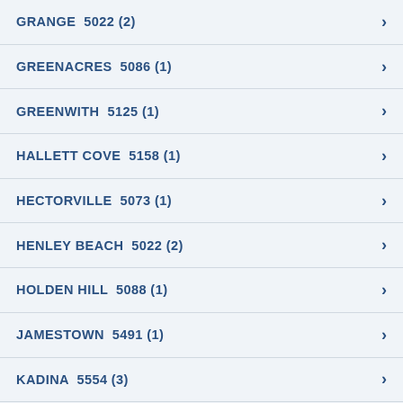GRANGE  5022 (2)
GREENACRES  5086 (1)
GREENWITH  5125 (1)
HALLETT COVE  5158 (1)
HECTORVILLE  5073 (1)
HENLEY BEACH  5022 (2)
HOLDEN HILL  5088 (1)
JAMESTOWN  5491 (1)
KADINA  5554 (3)